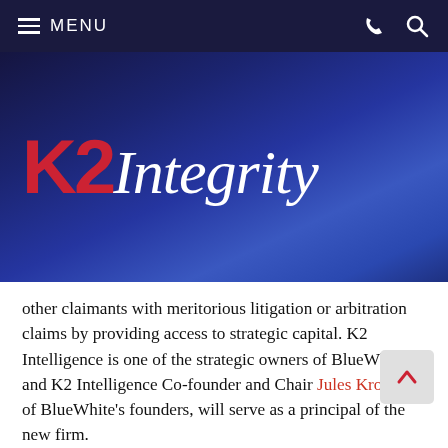MENU
[Figure (logo): K2 Integrity logo with red K2 and white italic Integrity text on dark blue gradient background]
other claimants with meritorious litigation or arbitration claims by providing access to strategic capital. K2 Intelligence is one of the strategic owners of BlueWhite, and K2 Intelligence Co-founder and Chair Jules Kroll, one of BlueWhite's founders, will serve as a principal of the new firm.
This relationship offers litigation support clients, and specifically our asset tracing and recovery clients a powerful tool and distinct advantage with respect to matters that involve hidden assets and the